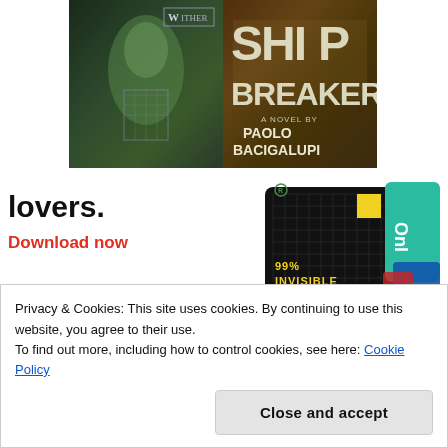[Figure (photo): Two book covers side by side: 'Wither' on the left (dark green tones with a woman figure) and 'Ship Breaker - A Novel by Paolo Bacigalupi' on the right (dark rusty tones)]
[Figure (photo): Advertisement section showing 'lovers.' text with 'Download now' in red, and a 99% Invisible podcast card image on the right]
Privacy & Cookies: This site uses cookies. By continuing to use this website, you agree to their use.
To find out more, including how to control cookies, see here: Cookie Policy
Close and accept